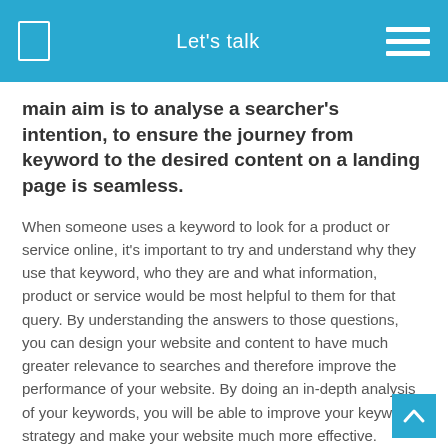Let's talk
main aim is to analyse a searcher's intention, to ensure the journey from keyword to the desired content on a landing page is seamless.
When someone uses a keyword to look for a product or service online, it's important to try and understand why they use that keyword, who they are and what information, product or service would be most helpful to them for that query. By understanding the answers to those questions, you can design your website and content to have much greater relevance to searches and therefore improve the performance of your website. By doing an in-depth analysis of your keywords, you will be able to improve your keyword strategy and make your website much more effective.
There are a few important things to remember when doing your own Search Keyword Intent Modelling.
Analyse User Intentions